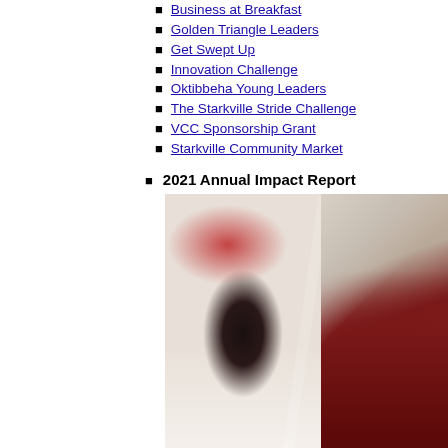Business at Breakfast
Golden Triangle Leaders
Get Swept Up
Innovation Challenge
Oktibbeha Young Leaders
The Starkville Stride Challenge
VCC Sponsorship Grant
Starkville Community Market
2021 Annual Impact Report
[Figure (photo): Photo collage showing community members, including a smiling woman and market/event scenes, with a dark maroon diagonal design element on the right side.]